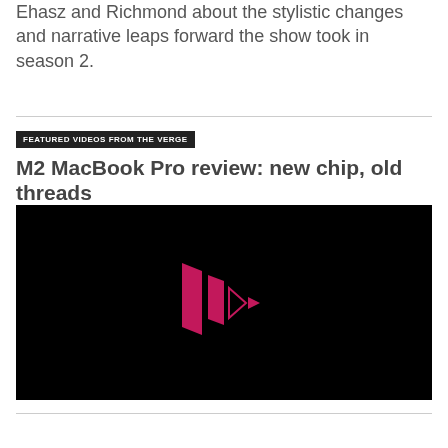Ehasz and Richmond about the stylistic changes and narrative leaps forward the show took in season 2.
FEATURED VIDEOS FROM THE VERGE
M2 MacBook Pro review: new chip, old threads
[Figure (screenshot): Video thumbnail with black background showing The Verge logo (pink/magenta play button style icon consisting of two parallelogram bars and a triangle) centered on screen]